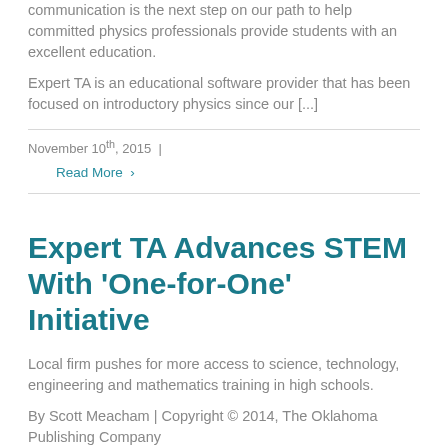communication is the next step on our path to help committed physics professionals provide students with an excellent education.
Expert TA is an educational software provider that has been focused on introductory physics since our [...]
November 10th, 2015  |
Read More ›
Expert TA Advances STEM With 'One-for-One' Initiative
Local firm pushes for more access to science, technology, engineering and mathematics training in high schools.
By Scott Meacham | Copyright © 2014, The Oklahoma Publishing Company